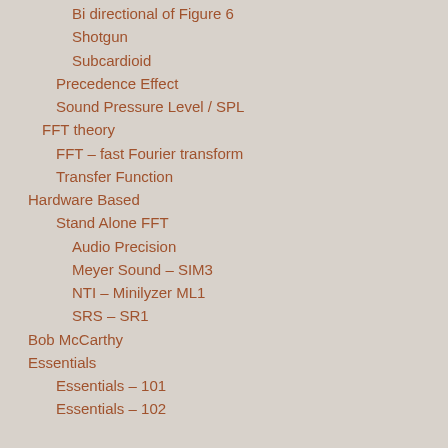Bi directional of Figure 6
Shotgun
Subcardioid
Precedence Effect
Sound Pressure Level / SPL
FFT theory
FFT – fast Fourier transform
Transfer Function
Hardware Based
Stand Alone FFT
Audio Precision
Meyer Sound – SIM3
NTI – Minilyzer ML1
SRS – SR1
Bob McCarthy
Essentials
Essentials – 101
Essentials – 102